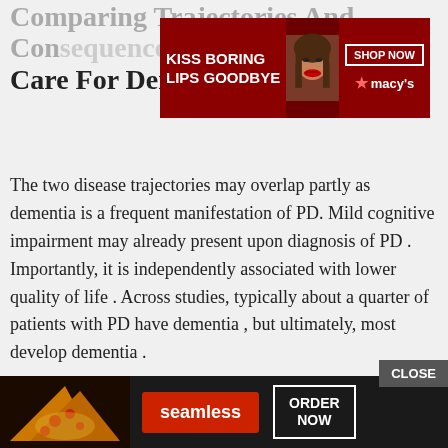Comparing Trajectories And Consequences Of Palliative Care For Dementia And Pd
[Figure (photo): Macy's advertisement banner showing a woman with red lips, text 'KISS BORING LIPS GOODBYE', SHOP NOW button, and Macy's star logo]
The two disease trajectories may overlap partly as dementia is a frequent manifestation of PD. Mild cognitive impairment may already present upon diagnosis of PD . Importantly, it is independently associated with lower quality of life . Across studies, typically about a quarter of patients with PD have dementia , but ultimately, most develop dementia .
A clear conceptualization of palliative care in chronic-progressive diseases is important for the development of healthcare systems that facilitate the integration of a palliative approach . Therefore, in this article we compare the disease trajectories as relevant for the
[Figure (photo): Seamless food delivery advertisement showing pizza, Seamless logo button, and ORDER NOW button with CLOSE button overlay]